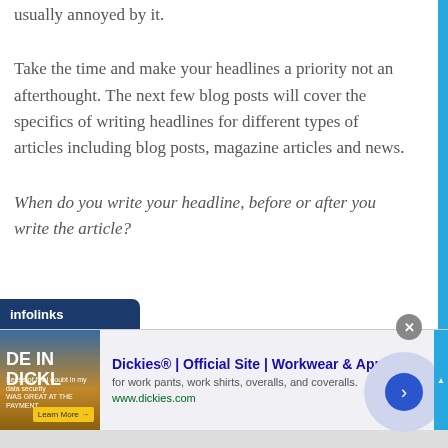usually annoyed by it.
Take the time and make your headlines a priority not an afterthought. The next few blog posts will cover the specifics of writing headlines for different types of articles including blog posts, magazine articles and news.
When do you write your headline, before or after you write the article?
[Figure (screenshot): Infolinks advertisement banner for Dickies workwear showing the Dickies logo image, ad title 'Dickies® | Official Site | Workwear & Apparel', description 'for work pants, work shirts, overalls, and coveralls.', URL 'www.dickies.com', with a close button and navigation arrow circle.]